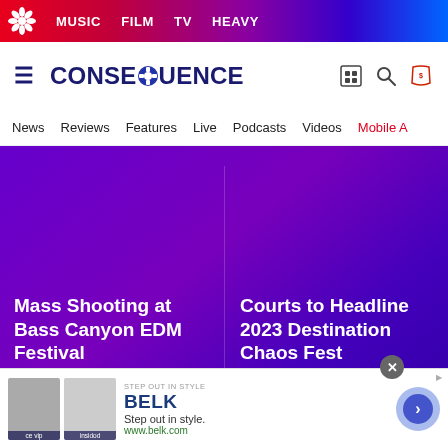MUSIC  FILM  TV  HEAVY
[Figure (screenshot): Consequence website logo and navigation header with hamburger menu, CONSEQUENCE logo, and icons for store, search, and shop]
News  Reviews  Features  Live  Podcasts  Videos  Mobile A
Mass Shooting at Bass Canyon EDM Festival
August 21, 2022
Courts to Headline 2023 Destination Chaos Fest
August 17, 2022
News
[Figure (screenshot): BELK advertisement banner: Step out in style. www.belk.com with two product images and a forward arrow button]